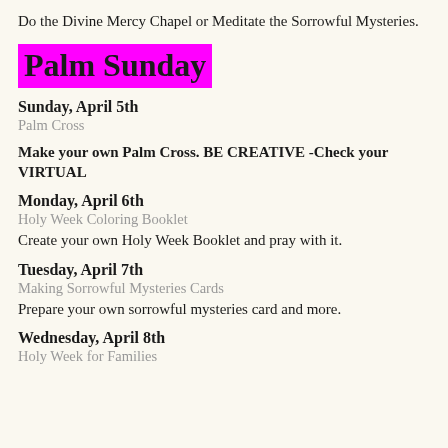Do the Divine Mercy Chapel or Meditate the Sorrowful Mysteries.
Palm Sunday
Sunday, April 5th
Palm Cross
Make your own Palm Cross. BE CREATIVE -Check your VIRTUAL
Monday, April 6th
Holy Week Coloring Booklet
Create your own Holy Week Booklet and pray with it.
Tuesday, April 7th
Making Sorrowful Mysteries Cards
Prepare your own sorrowful mysteries card and more.
Wednesday, April 8th
Holy Week for Families